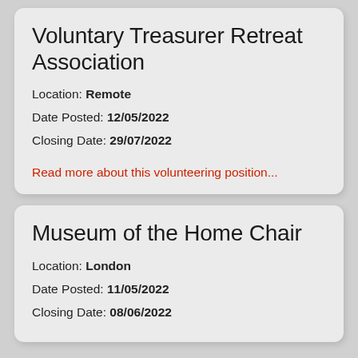Voluntary Treasurer Retreat Association
Location: Remote
Date Posted: 12/05/2022
Closing Date: 29/07/2022
Read more about this volunteering position...
Museum of the Home Chair
Location: London
Date Posted: 11/05/2022
Closing Date: 08/06/2022